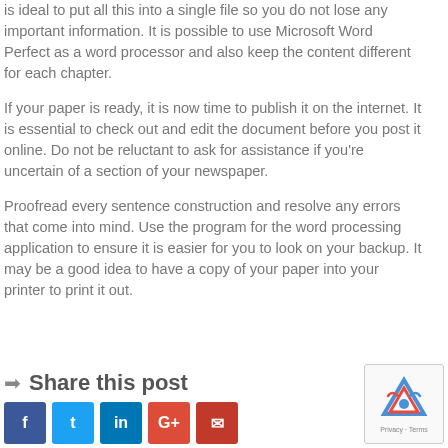is ideal to put all this into a single file so you do not lose any important information. It is possible to use Microsoft Word Perfect as a word processor and also keep the content different for each chapter.
If your paper is ready, it is now time to publish it on the internet. It is essential to check out and edit the document before you post it online. Do not be reluctant to ask for assistance if you’re uncertain of a section of your newspaper.
Proofread every sentence construction and resolve any errors that come into mind. Use the program for the word processing application to ensure it is easier for you to look on your backup. It may be a good idea to have a copy of your paper into your printer to print it out.
Share this post
[Figure (other): Social media share buttons: Facebook, Twitter, LinkedIn, Google+, Email; and a reCAPTCHA widget]